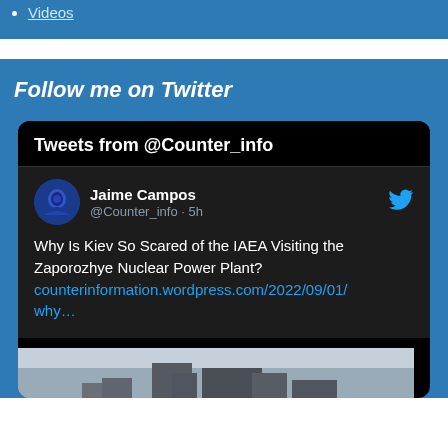Videos
Follow me on Twitter
[Figure (screenshot): Embedded Twitter widget showing tweets from @Counter_info. Displays tweet by Jaime Campos (@Counter_info · 5h): 'Why Is Kiev So Scared of the IAEA Visiting the Zaporozhye Nuclear Power Plant?' with link counterinformation.wordpress.com/2022/09/01/why… and a partial image preview of a building.]